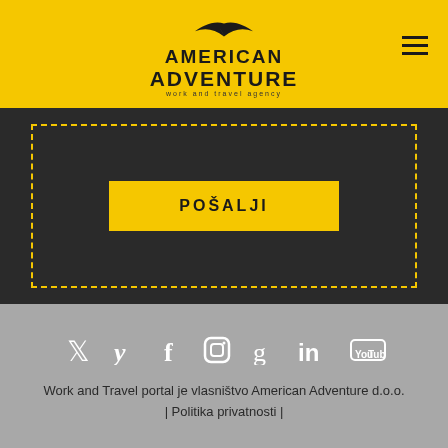[Figure (logo): American Adventure work and travel agency logo with bird silhouette on yellow background with hamburger menu icon]
[Figure (other): Dark background section with yellow dashed border rectangle containing a yellow POSALJI (send) button]
[Figure (other): Gray footer section with social media icons (Twitter, Facebook, Instagram, Google+, LinkedIn, YouTube)]
Work and Travel portal je vlasništvo American Adventure d.o.o. | Politika privatnosti |
English